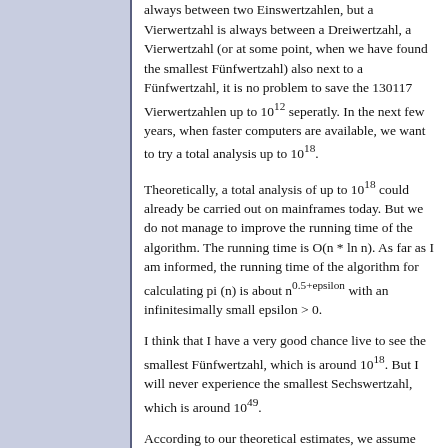always between two Einswertzahlen, but a Vierwertzahl is always between a Dreiwertzahl, a Vierwertzahl (or at some point, when we have found the smallest Fünfwertzahl) also next to a Fünfwertzahl, it is no problem to save the 130117 Vierwertzahlen up to 10^12 seperatly. In the next few years, when faster computers are available, we want to try a total analysis up to 10^18.
Theoretically, a total analysis of up to 10^18 could already be carried out on mainframes today. But we do not manage to improve the running time of the algorithm. The running time is O(n * ln n). As far as I am informed, the running time of the algorithm for calculating pi (n) is about n^0.5+epsilon with an infinitesimally small epsilon > 0.
I think that I have a very good chance live to see the smallest Fünfwertzahl, which is around 10^18. But I will never experience the smallest Sechswertzahl, which is around 10^49.
According to our theoretical estimates, we assume that the asymptotic density for the distribution of the Zweiwertzahlen is 1, i.e. if